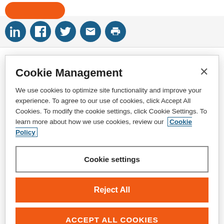[Figure (screenshot): Orange rounded button partially visible at top]
[Figure (screenshot): Social media icons row: LinkedIn, Facebook, Twitter, Email, Print — all in dark teal/blue circles on light grey background]
Cookie Management
We use cookies to optimize site functionality and improve your experience. To agree to our use of cookies, click Accept All Cookies. To modify the cookie settings, click Cookie Settings. To learn more about how we use cookies, review our Cookie Policy
Cookie settings
Reject All
ACCEPT ALL COOKIES